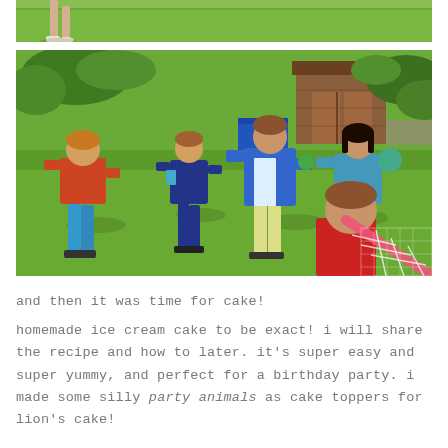[Figure (photo): Partial photo at top showing a child's legs on grass, cropped — only the bottom portion of a backyard scene is visible.]
[Figure (photo): Children playing in a backyard on a sunny day. Four to five children are standing on green grass. A wooden shed is visible in the background. A blue plastic storage box and various toys are scattered around. A pink lattice net is visible in the bottom-right foreground.]
and then it was time for cake!
homemade ice cream cake to be exact! i will share the recipe and how to later. it’s super easy and super yummy, and perfect for a birthday party. i made some silly party animals as cake toppers for lion’s cake!